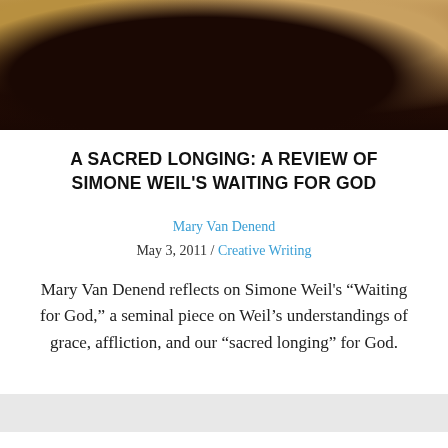[Figure (photo): Sepia-toned historical photograph showing a dark silhouette against a warm amber/brown background]
A SACRED LONGING: A REVIEW OF SIMONE WEIL'S WAITING FOR GOD
Mary Van Denend
May 3, 2011 / Creative Writing
Mary Van Denend reflects on Simone Weil's “Waiting for God,” a seminal piece on Weil’s understandings of grace, affliction, and our “sacred longing” for God.
← We’re Number One: Sport as the Liturgy of Empire
Hunger →